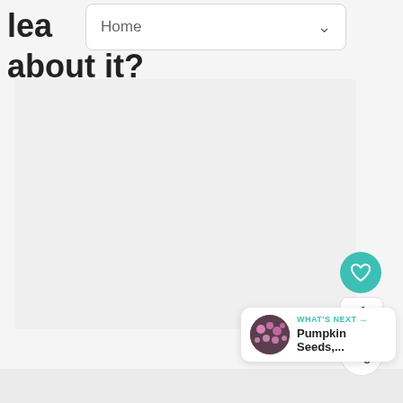lea
about it?
[Figure (screenshot): Navigation dropdown menu showing 'Home' with a down arrow chevron]
[Figure (photo): Large light gray image area placeholder]
[Figure (infographic): Floating action buttons: teal heart/like button, count '4', white share button with plus icon]
[Figure (infographic): What's Next card showing a thumbnail of pink flowers, label 'WHAT'S NEXT →', and title 'Pumpkin Seeds,...']